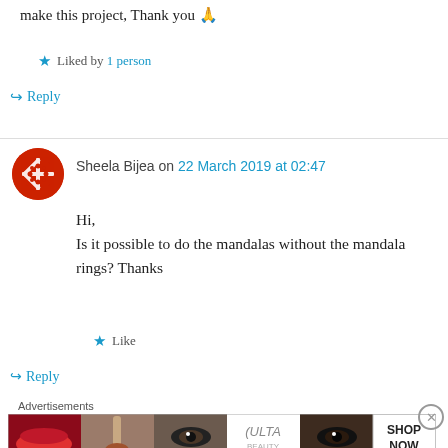make this project, Thank you 🙏
★ Liked by 1 person
↪ Reply
Sheela Bijea on 22 March 2019 at 02:47
Hi,
Is it possible to do the mandalas without the mandala rings? Thanks
★ Like
↪ Reply
[Figure (other): Advertisement banner for ULTA beauty showing makeup imagery and SHOP NOW text]